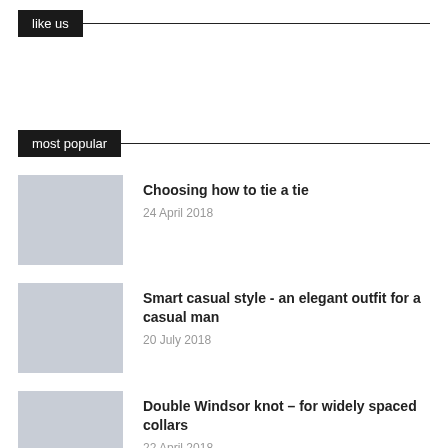like us
most popular
[Figure (illustration): Light grey placeholder thumbnail image for article 1]
Choosing how to tie a tie
24 April 2018
[Figure (illustration): Light grey placeholder thumbnail image for article 2]
Smart casual style - an elegant outfit for a casual man
20 July 2018
[Figure (illustration): Light grey placeholder thumbnail image for article 3]
Double Windsor knot – for widely spaced collars
22 April 2018